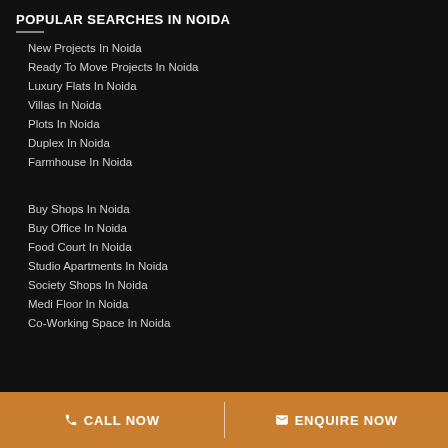POPULAR SEARCHES IN NOIDA
New Projects In Noida
Ready To Move Projects In Noida
Luxury Flats In Noida
Villas In Noida
Plots In Noida
Duplex In Noida
Farmhouse In Noida
Buy Shops In Noida
Buy Office In Noida
Food Court In Noida
Studio Apartments In Noida
Society Shops In Noida
Medi Floor In Noida
Co-Working Space In Noida
CALL NOW  ENQUIRE NOW